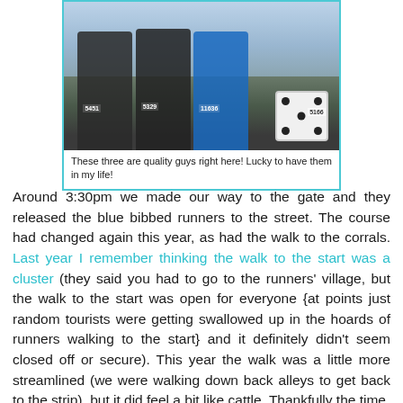[Figure (photo): Four people posing together at a race event. Three men and one woman. The woman is wearing a large foam dice costume. All wearing race bibs: 5451, 5329, 11636, 5166. They are standing on a street.]
These three are quality guys right here! Lucky to have them in my life!
Around 3:30pm we made our way to the gate and they released the blue bibbed runners to the street. The course had changed again this year, as had the walk to the corrals. Last year I remember thinking the walk to the start was a cluster (they said you had to go to the runners' village, but the walk to the start was open for everyone {at points just random tourists were getting swallowed up in the hoards of runners walking to the start} and it definitely didn't seem closed off or secure). This year the walk was a little more streamlined (we were walking down back alleys to get back to the strip), but it did feel a bit like cattle. Thankfully the time